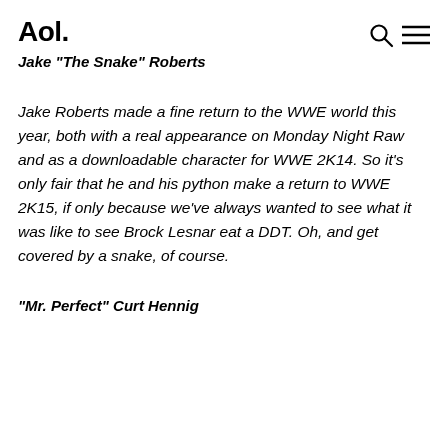Aol.
Jake "The Snake" Roberts
Jake Roberts made a fine return to the WWE world this year, both with a real appearance on Monday Night Raw and as a downloadable character for WWE 2K14. So it's only fair that he and his python make a return to WWE 2K15, if only because we've always wanted to see what it was like to see Brock Lesnar eat a DDT. Oh, and get covered by a snake, of course.
"Mr. Perfect" Curt Hennig